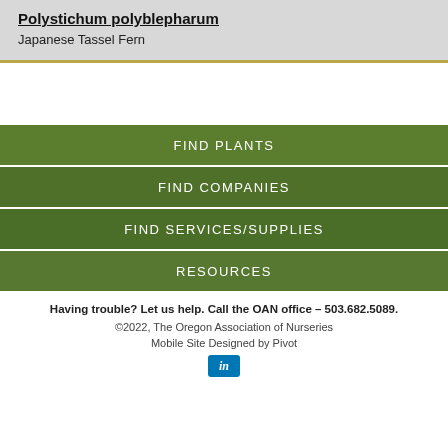Polystichum polyblepharum
Japanese Tassel Fern
FIND PLANTS
FIND COMPANIES
FIND SERVICES/SUPPLIES
RESOURCES
Having trouble? Let us help. Call the OAN office – 503.682.5089.
©2022, The Oregon Association of Nurseries
Mobile Site Designed by Pivot
[Figure (logo): LinkedIn logo button (blue square with 'in' text)]